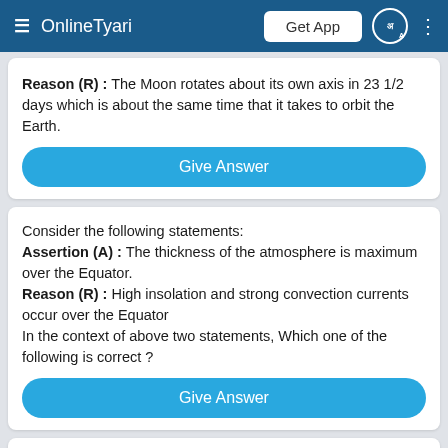OnlineTyari | Get App
Reason (R) : The Moon rotates about its own axis in 23 1/2 days which is about the same time that it takes to orbit the Earth.
Give Answer
Consider the following statements: Assertion (A) : The thickness of the atmosphere is maximum over the Equator. Reason (R) : High insolation and strong convection currents occur over the Equator In the context of above two statements, Which one of the following is correct ?
Give Answer
Consider the following statements: Assertion (A) : Areas lying within five to eight degrees latitude on either side of the equator receive rainfall through -out  the year.